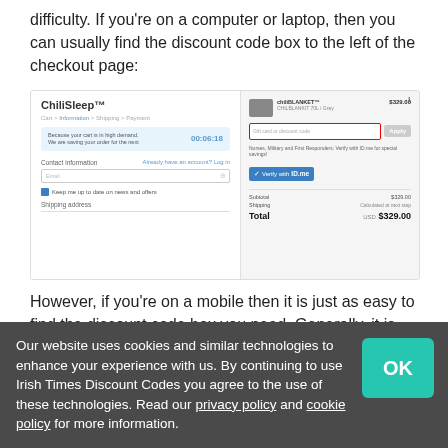difficulty. If you're on a computer or laptop, then you can usually find the discount code box to the left of the checkout page:
[Figure (screenshot): Screenshot of ChiliSleep checkout page showing left panel with contact information form fields and right panel with discount code input box (highlighted in red border), product summary showing $329.00 total, and verify button]
However, if you're on a mobile then it is just as easy to find the discount code box you need. Generally, it is present on the checkout form.
Step 5: Enjoy!
Our website uses cookies and similar technologies to enhance your experience with us. By continuing to use Irish Times Discount Codes you agree to the use of these technologies. Read our privacy policy and cookie policy for more information.